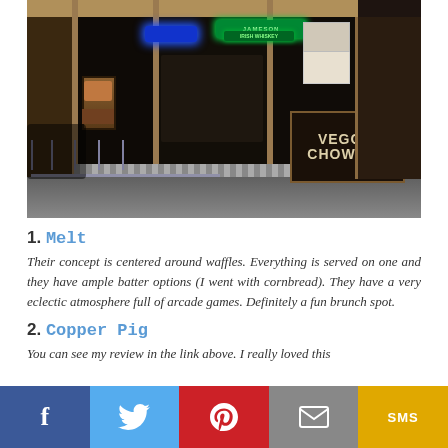[Figure (photo): Exterior storefront photo of a bar/restaurant at night with dark windows, neon signs including a blue sign and a green Jameson sign, decorative artwork on the left, and a 'Veggie Chowder' chalkboard sign on the right side.]
1. Melt
Their concept is centered around waffles. Everything is served on one and they have ample batter options (I went with cornbread). They have a very eclectic atmosphere full of arcade games. Definitely a fun brunch spot.
2. Copper Pig
You can see my review in the link above. I really loved this